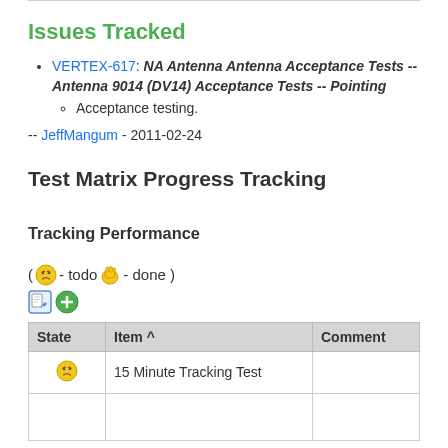Issues Tracked
VERTEX-617: NA Antenna Antenna Acceptance Tests -- Antenna 9014 (DV14) Acceptance Tests -- Pointing
  - Acceptance testing.
-- JeffMangum - 2011-02-24
Test Matrix Progress Tracking
Tracking Performance
( [todo emoji] - todo [done emoji] - done )
[Figure (other): Edit and add icons (pencil on paper icon and green plus icon)]
| State | Item ^ | Comment |
| --- | --- | --- |
| [todo emoji] | 15 Minute Tracking Test |  |